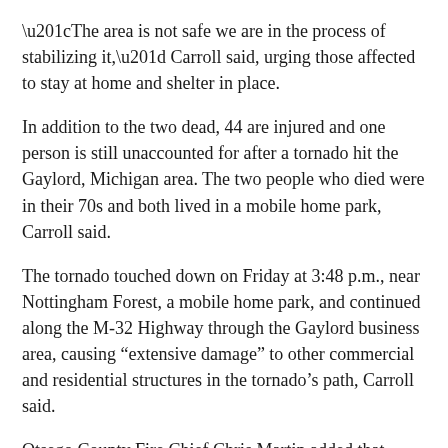“The area is not safe we are in the process of stabilizing it,” Carroll said, urging those affected to stay at home and shelter in place.
In addition to the two dead, 44 are injured and one person is still unaccounted for after a tornado hit the Gaylord, Michigan area. The two people who died were in their 70s and both lived in a mobile home park, Carroll said.
The tornado touched down on Friday at 3:48 p.m., near Nottingham Forest, a mobile home park, and continued along the M-32 Highway through the Gaylord business area, causing “extensive damage” to other commercial and residential structures in the tornado’s path, Carroll said.
Otsego County Fire Chief Chris Martin added that about 95% of the mobile home park has been destroyed, with “trailers picked up and turned over on top of each other.”
The tornado warning code red alert sent out gave people in the Gaylord area about 10 minutes to prepare, John Boris, Science